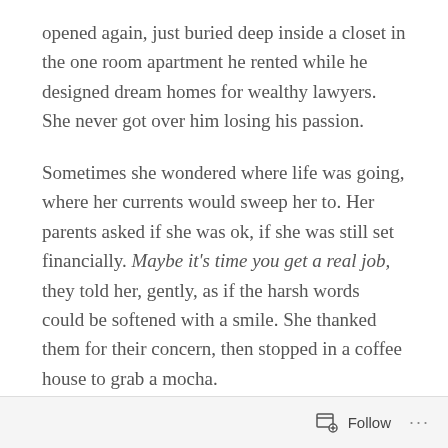opened again, just buried deep inside a closet in the one room apartment he rented while he designed dream homes for wealthy lawyers. She never got over him losing his passion.
Sometimes she wondered where life was going, where her currents would sweep her to. Her parents asked if she was ok, if she was still set financially. Maybe it's time you get a real job, they told her, gently, as if the harsh words could be softened with a smile. She thanked them for their concern, then stopped in a coffee house to grab a mocha.
Real job. Real life. Real problems. What was reality, anyway?
Follow ···